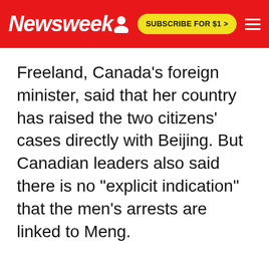Newsweek | SUBSCRIBE FOR $1 >
Freeland, Canada's foreign minister, said that her country has raised the two citizens' cases directly with Beijing. But Canadian leaders also said there is no "explicit indication" that the men's arrests are linked to Meng.